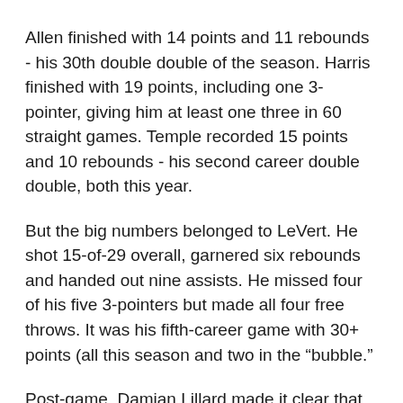Allen finished with 14 points and 11 rebounds - his 30th double double of the season. Harris finished with 19 points, including one 3-pointer, giving him at least one three in 60 straight games. Temple recorded 15 points and 10 rebounds - his second career double double, both this year.
But the big numbers belonged to LeVert. He shot 15-of-29 overall, garnered six rebounds and handed out nine assists. He missed four of his five 3-pointers but made all four free throws. It was his fifth-career game with 30+ points (all this season and two in the “bubble.”
Post-game, Damian Lillard made it clear that he and the Blazers respected Brooklyn ... and LeVert.